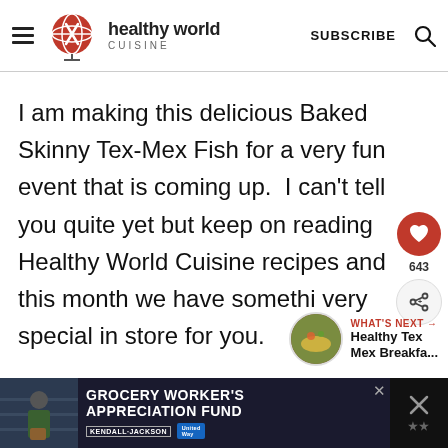healthy world CUISINE — SUBSCRIBE
I am making this delicious Baked Skinny Tex-Mex Fish for a very fun event that is coming up.  I can't tell you quite yet but keep on reading Healthy World Cuisine recipes and this month we have somethi very special in store for you.
[Figure (infographic): What's Next panel with circular food image thumbnail and text: WHAT'S NEXT → Healthy Tex Mex Breakfa...]
[Figure (infographic): Advertisement banner: GROCERY WORKER'S APPRECIATION FUND with Kendall Jackson and United Way logos]